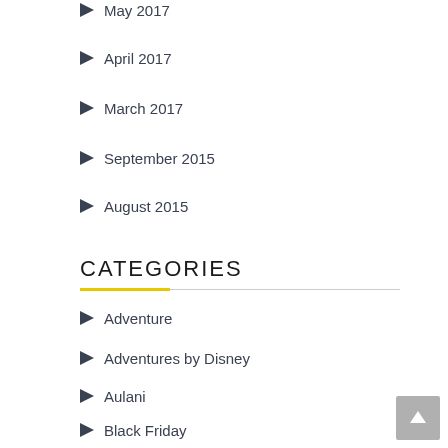May 2017
April 2017
March 2017
September 2015
August 2015
CATEGORIES
Adventure
Adventures by Disney
Aulani
Black Friday
Blizzard Beach